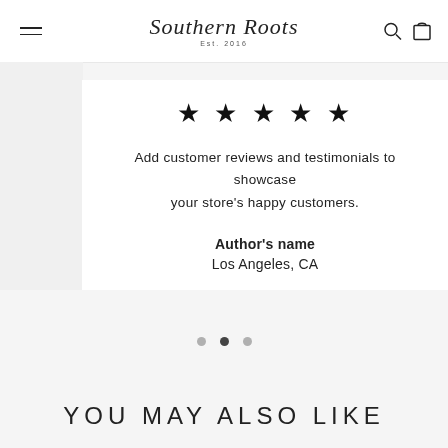Southern Roots Est. 2016
[Figure (other): Five black star rating icons]
Add customer reviews and testimonials to showcase your store's happy customers.
Author's name
Los Angeles, CA
[Figure (other): Carousel pagination dots — three dots, middle one active]
YOU MAY ALSO LIKE